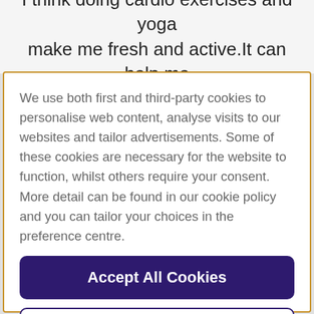I think doing cardio exercises and yoga make me fresh and active.It can help me
We use both first and third-party cookies to personalise web content, analyse visits to our websites and tailor advertisements. Some of these cookies are necessary for the website to function, whilst others require your consent. More detail can be found in our cookie policy and you can tailor your choices in the preference centre.
Accept All Cookies
Cookies Settings